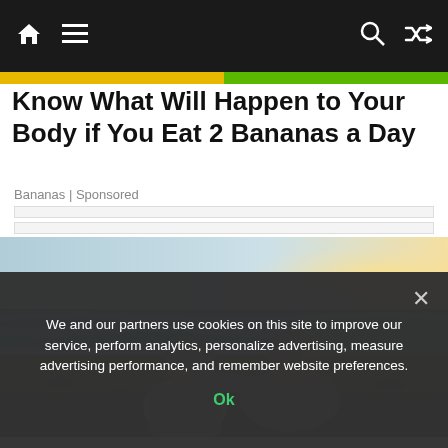Navigation bar with home icon, menu icon, search icon, shuffle icon
Know What Will Happen to Your Body if You Eat 2 Bananas a Day
Bananas | Sponsored
[Figure (photo): Elderly couple sitting on a beach, viewed from behind, with the man's arm around the woman, looking out at the ocean]
We and our partners use cookies on this site to improve our service, perform analytics, personalize advertising, measure advertising performance, and remember website preferences. Ok